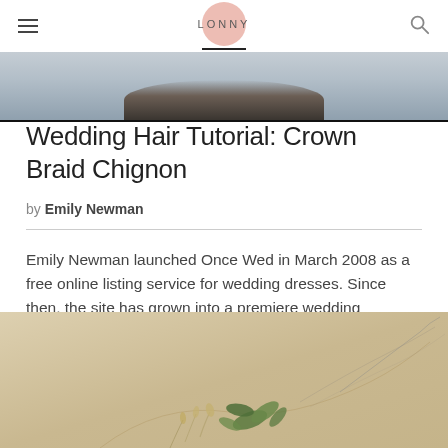LONNY
[Figure (photo): Top cropped photo showing a person with dark hair against a light blue/grey background]
Wedding Hair Tutorial: Crown Braid Chignon
by Emily Newman
Emily Newman launched Once Wed in March 2008 as a free online listing service for wedding dresses. Since then, the site has grown into a premiere wedding planning destination that celebrates unconve...
[Figure (photo): Bottom portion of a photo showing botanical/floral elements (green leaves and delicate stems) against a warm beige/tan textured background]